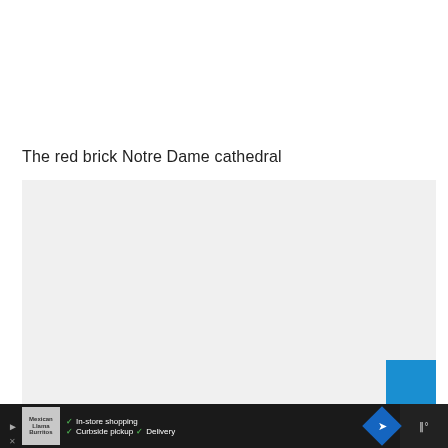The red brick Notre Dame cathedral
[Figure (photo): A light gray placeholder image area for the Notre Dame cathedral photo, with a blue button in the bottom-right corner and navigation dots below.]
In-store shopping  Curbside pickup  Delivery